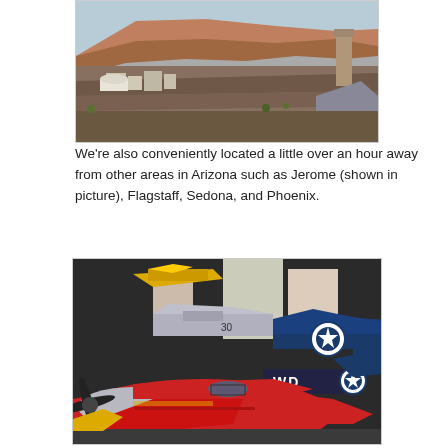[Figure (photo): Aerial or elevated landscape view of Jerome, Arizona, showing desert terrain with red rock formations in the background, buildings and structures in the middle ground, and a chimney or post in the foreground right.]
We're also conveniently located a little over an hour away from other areas in Arizona such as Jerome (shown in picture), Flagstaff, Sedona, and Phoenix.
[Figure (photo): Collection of radio-controlled (RC) model airplanes on the ground at an airshow or meet, including a prominent red P-51 Mustang style plane with 'WD' markings and US star insignia, yellow planes, and other military-style models with people in the background.]